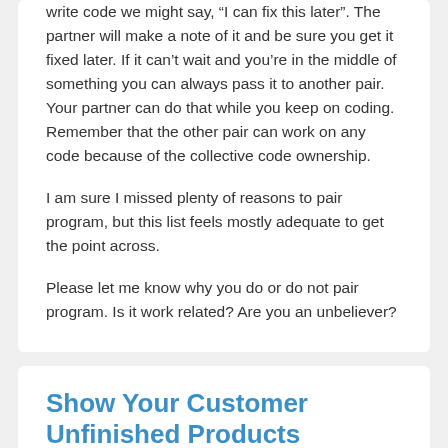write code we might say, “I can fix this later”. The partner will make a note of it and be sure you get it fixed later. If it can’t wait and you’re in the middle of something you can always pass it to another pair. Your partner can do that while you keep on coding. Remember that the other pair can work on any code because of the collective code ownership.
I am sure I missed plenty of reasons to pair program, but this list feels mostly adequate to get the point across.
Please let me know why you do or do not pair program. Is it work related? Are you an unbeliever?
Show Your Customer Unfinished Products
1. May 2010    Blog
In what I would call the worst-case scenario a customer’s